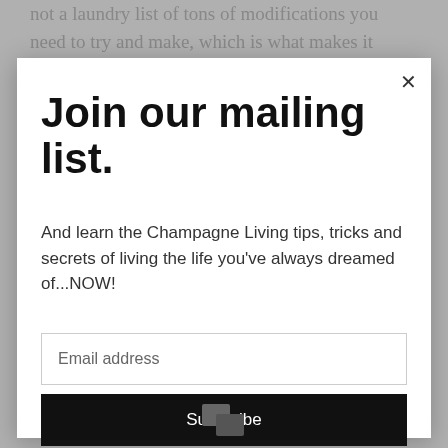not a laundry list of tons of modifications you need to try and make, which is what makes it
Join our mailing list.
And learn the Champagne Living tips, tricks and secrets of living the life you've always dreamed of...NOW!
Email address
Subscribe